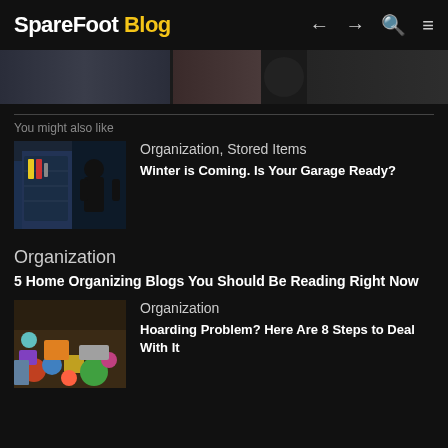SpareFoot Blog
[Figure (screenshot): Horizontal scrolling strip of thumbnail images from blog posts]
You might also like
[Figure (photo): Person organizing tools on a pegboard in a garage]
Organization, Stored Items
Winter is Coming. Is Your Garage Ready?
Organization
5 Home Organizing Blogs You Should Be Reading Right Now
[Figure (photo): Cluttered room with hoarded items and toys]
Organization
Hoarding Problem? Here Are 8 Steps to Deal With It